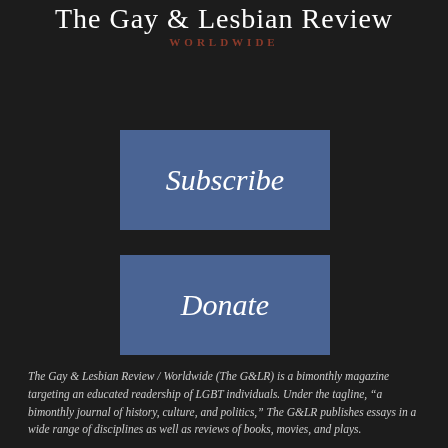The Gay & Lesbian Review WORLDWIDE
Subscribe
Donate
The Gay & Lesbian Review / Worldwide (The G&LR) is a bimonthly magazine targeting an educated readership of LGBT individuals. Under the tagline, “a bimonthly journal of history, culture, and politics,” The G&LR publishes essays in a wide range of disciplines as well as reviews of books, movies, and plays.